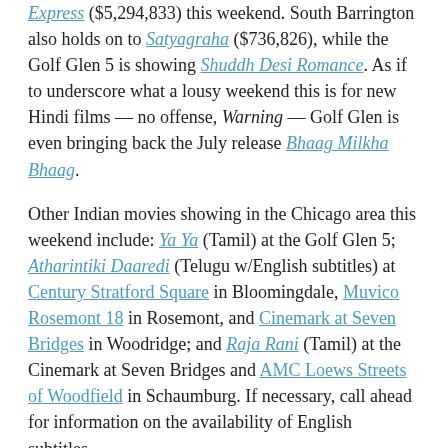Express ($5,294,833) this weekend. South Barrington also holds on to Satyagraha ($736,826), while the Golf Glen 5 is showing Shuddh Desi Romance. As if to underscore what a lousy weekend this is for new Hindi films — no offense, Warning — Golf Glen is even bringing back the July release Bhaag Milkha Bhaag.
Other Indian movies showing in the Chicago area this weekend include: Ya Ya (Tamil) at the Golf Glen 5; Atharintiki Daaredi (Telugu w/English subtitles) at Century Stratford Square in Bloomingdale, Muvico Rosemont 18 in Rosemont, and Cinemark at Seven Bridges in Woodridge; and Raja Rani (Tamil) at the Cinemark at Seven Bridges and AMC Loews Streets of Woodfield in Schaumburg. If necessary, call ahead for information on the availability of English subtitles.
Share this: